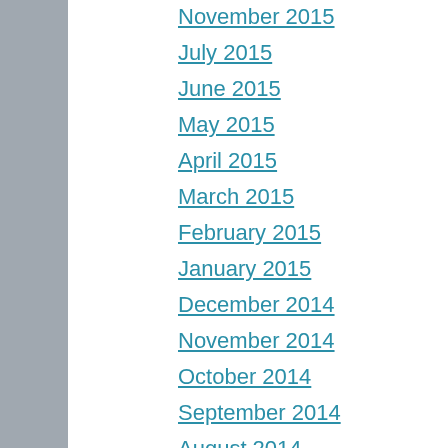November 2015
July 2015
June 2015
May 2015
April 2015
March 2015
February 2015
January 2015
December 2014
November 2014
October 2014
September 2014
August 2014
April 2014
March 2014
February 2014
January 2014